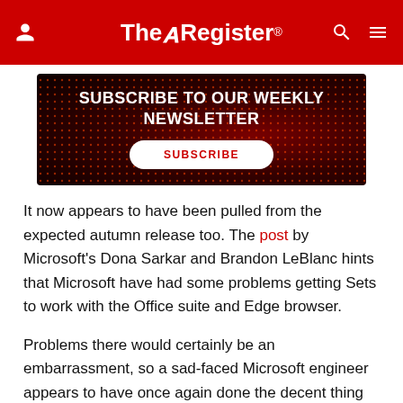The Register
[Figure (other): Subscribe to our weekly newsletter banner with dark red background and dot pattern, white text and subscribe button]
It now appears to have been pulled from the expected autumn release too. The post by Microsoft's Dona Sarkar and Brandon LeBlanc hints that Microsoft have had some problems getting Sets to work with the Office suite and Edge browser.
Problems there would certainly be an embarrassment, so a sad-faced Microsoft engineer appears to have once again done the decent thing and led the tech around the back of the barn for a short conversation with a shovel.